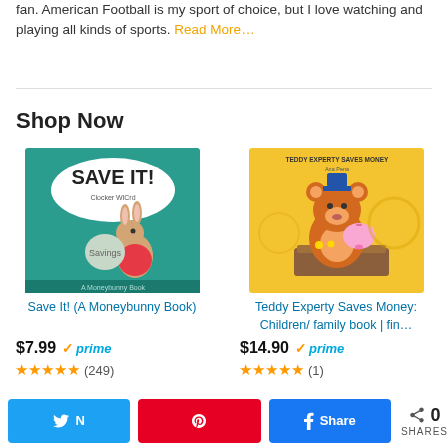fan. American Football is my sport of choice, but I love watching and playing all kinds of sports. Read More…
Shop Now
[Figure (illustration): Book cover: Save It! (A Moneybunny Book) - teal cover with cartoon bunny holding a savings bag]
Save It! (A Moneybunny Book)
$7.99 prime (249 reviews, ~4.5 stars)
[Figure (illustration): Book cover: Teddy Experty Saves Money - yellow cover with cartoon bear at a wooden box with piggy bank]
Teddy Experty Saves Money: Children/ family book | fin…
$14.90 prime (1 review, ~4.5 stars)
Twitter | Pinterest | Facebook share buttons. 0 SHARES